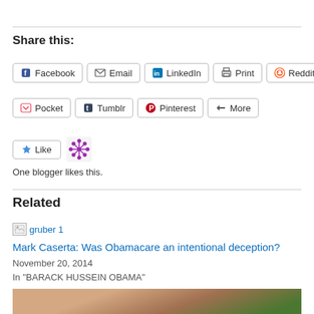Share this:
[Figure (other): Row of social sharing buttons: Facebook, Email, LinkedIn, Print, Reddit]
[Figure (other): Row of social sharing buttons: Pocket, Tumblr, Pinterest, More]
[Figure (other): Like button with blogger avatar icon]
One blogger likes this.
Related
[Figure (photo): Broken image placeholder with alt text: gruber 1]
Mark Caserta: Was Obamacare an intentional deception?
November 20, 2014
In "BARACK HUSSEIN OBAMA"
[Figure (photo): Partial photo of a person with greenery in background]